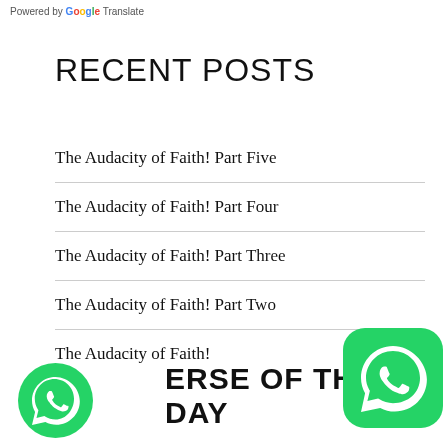Powered by Google Translate
RECENT POSTS
The Audacity of Faith! Part Five
The Audacity of Faith! Part Four
The Audacity of Faith! Part Three
The Audacity of Faith! Part Two
The Audacity of Faith!
VERSE OF THE DAY
[Figure (logo): WhatsApp logo icon, green circle with white phone handset]
[Figure (logo): WhatsApp logo icon, green rounded square with white phone handset]